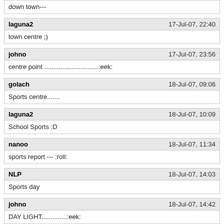down town---
laguna2 | 17-Jul-07, 22:40 | town centre ;)
johno | 17-Jul-07, 23:56 | centre point ..............................:eek:
golach | 18-Jul-07, 09:06 | Sports centre.......
laguna2 | 18-Jul-07, 10:09 | School Sports :D
nanoo | 18-Jul-07, 11:34 | sports report --- :roll:
NLP | 18-Jul-07, 14:03 | Sports day
johno | 18-Jul-07, 14:42 | DAY LIGHT..............:eek: